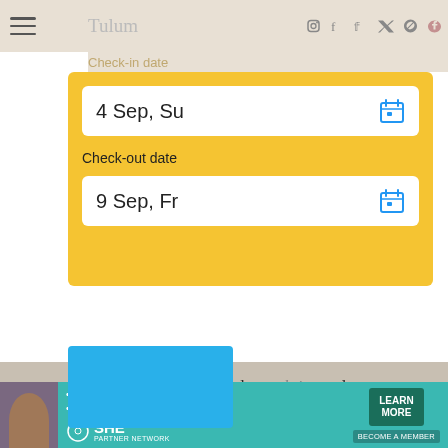Tulum
Check-in date
4 Sep, Su
Check-out date
9 Sep, Fr
Get uniquely curated travel tips and more straight to your inbox — don't miss out!
YOUR EMAIL ADDRESS
[Figure (screenshot): SHE Media Partner Network advertisement banner with earning site and social revenue, traffic growth bullet points, and Learn More button]